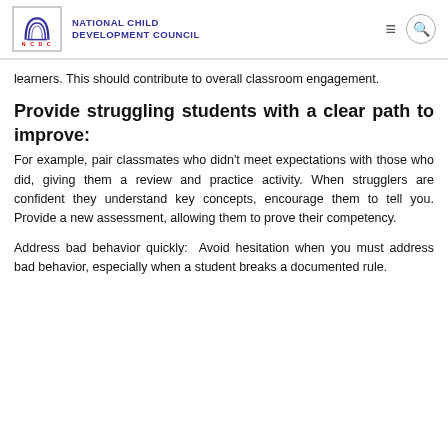NATIONAL CHILD DEVELOPMENT COUNCIL
learners. This should contribute to overall classroom engagement.
Provide struggling students with a clear path to improve:
For example, pair classmates who didn't meet expectations with those who did, giving them a review and practice activity. When strugglers are confident they understand key concepts, encourage them to tell you. Provide a new assessment, allowing them to prove their competency.
Address bad behavior quickly:  Avoid hesitation when you must address bad behavior, especially when a student breaks a documented rule.